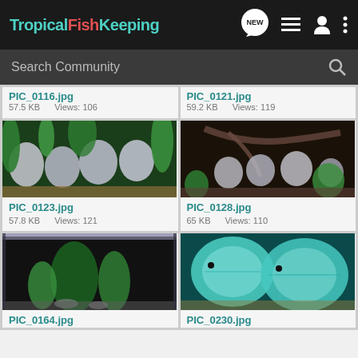TropicalFishKeeping
Search Community
PIC_0116.jpg
57.5 KB    Views: 106
PIC_0121.jpg
59.2 KB    Views: 119
[Figure (photo): Aquarium with multiple discus fish and green plants]
PIC_0123.jpg
57.8 KB    Views: 121
[Figure (photo): Aquarium with discus fish, driftwood and plants]
PIC_0128.jpg
65 KB    Views: 110
[Figure (photo): Aquarium tank with plants and rocks]
PIC_0164.jpg
[Figure (photo): Close-up of two teal/blue discus fish]
PIC_0230.jpg